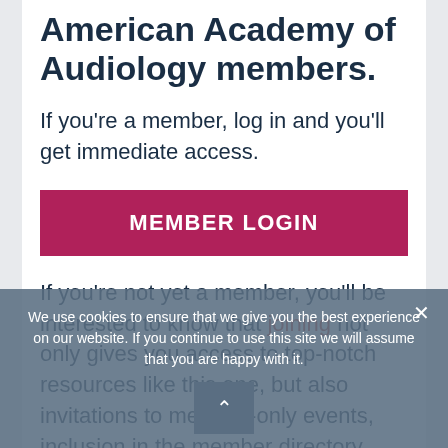American Academy of Audiology members.
If you're a member, log in and you'll get immediate access.
MEMBER LOGIN
If you're not yet a member, you'll be interested to know that joining not only gives you access to top-notch resources like this one, but also invitations to member-only events, inclusion in the member directory, participation in professional forums, and access
We use cookies to ensure that we give you the best experience on our website. If you continue to use this site we will assume that you are happy with it.